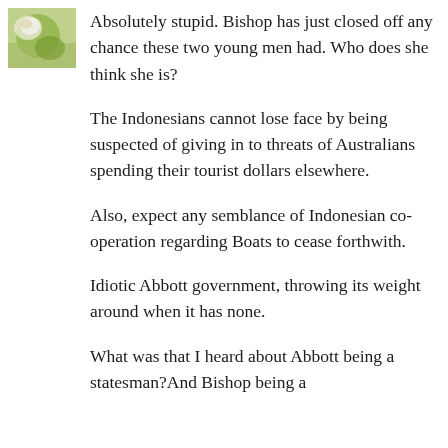[Figure (photo): Small avatar/profile image thumbnail showing a yellow and green bird or foliage, positioned top left]
Absolutely stupid. Bishop has just closed off any chance these two young men had. Who does she think she is?
The Indonesians cannot lose face by being suspected of giving in to threats of Australians spending their tourist dollars elsewhere.
Also, expect any semblance of Indonesian co-operation regarding Boats to cease forthwith.
Idiotic Abbott government, throwing its weight around when it has none.
What was that I heard about Abbott being a statesman?And Bishop being a